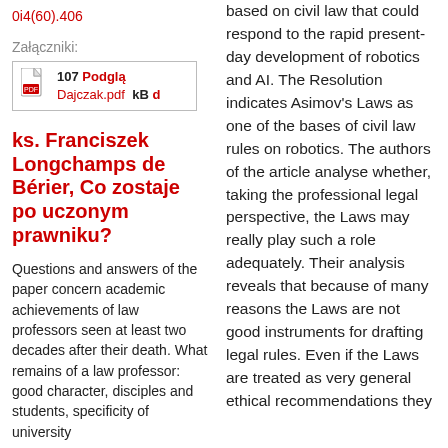0i4(60).406
Załączniki:
[Figure (other): PDF attachment icon with filename Dajczak.pdf, size 107 kB, with Podgląd link]
ks. Franciszek Longchamps de Bérier, Co zostaje po uczonym prawniku?
Questions and answers of the paper concern academic achievements of law professors seen at least two decades after their death. What remains of a law professor: good character, disciples and students, specificity of university
based on civil law that could respond to the rapid present-day development of robotics and AI. The Resolution indicates Asimov's Laws as one of the bases of civil law rules on robotics. The authors of the article analyse whether, taking the professional legal perspective, the Laws may really play such a role adequately. Their analysis reveals that because of many reasons the Laws are not good instruments for drafting legal rules. Even if the Laws are treated as very general ethical recommendations they